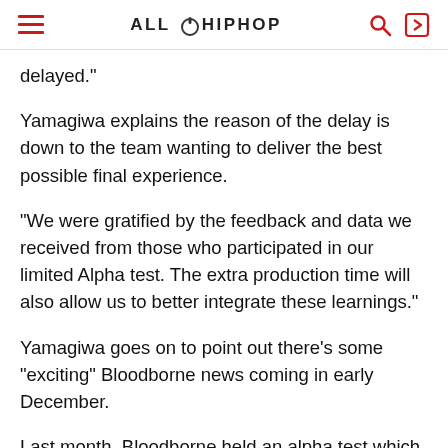ALL HIP HOP
delayed."
Yamagiwa explains the reason of the delay is down to the team wanting to deliver the best possible final experience.
"We were gratified by the feedback and data we received from those who participated in our limited Alpha test. The extra production time will also allow us to better integrate these learnings."
Yamagiwa goes on to point out there's some "exciting" Bloodborne news coming in early December.
Last month, Bloodborne held an alpha test which was later pulled citing “a defect” and “some issues.”